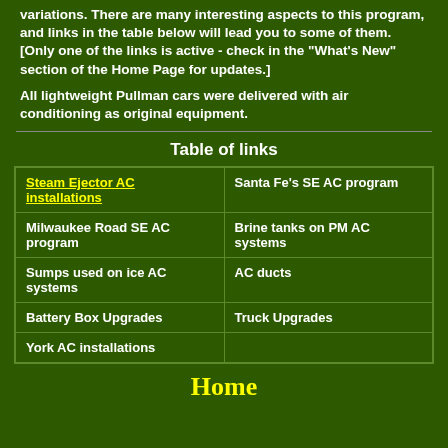variations. There are many interesting aspects to this program, and links in the table below will lead you to some of them. [Only one of the links is active - check in the "What's New" section of the Home Page for updates.]
All lightweight Pullman cars were delivered with air conditioning as original equipment.
Table of links
|  |  |
| --- | --- |
| Steam Ejector AC installations | Santa Fe's SE AC program |
| Milwaukee Road SE AC program | Brine tanks on PM AC systems |
| Sumps used on ice AC systems | AC ducts |
| Battery Box Upgrades | Truck Upgrades |
| York AC installations |  |
Home